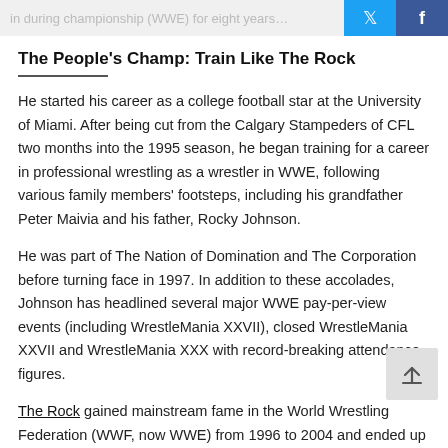The People's Champ: Train Like The Rock
He started his career as a college football star at the University of Miami. After being cut from the Calgary Stampeders of CFL two months into the 1995 season, he began training for a career in professional wrestling as a wrestler in WWE, following various family members' footsteps, including his grandfather Peter Maivia and his father, Rocky Johnson.
He was part of The Nation of Domination and The Corporation before turning face in 1997. In addition to these accolades, Johnson has headlined several major WWE pay-per-view events (including WrestleMania XXVII), closed WrestleMania XXVII and WrestleMania XXX with record-breaking attendance figures.
The Rock gained mainstream fame in the World Wrestling Federation (WWF, now WWE) from 1996 to 2004 and ended up winning 17 WWE championships in